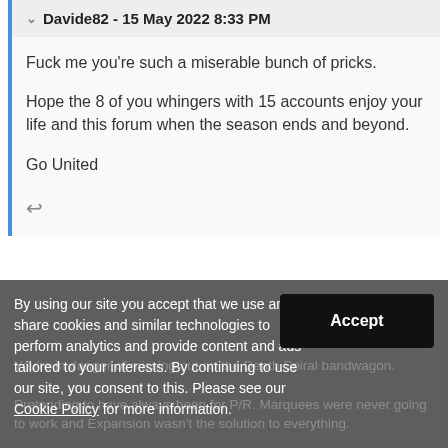Davide82 - 15 May 2022 8:33 PM
Fuck me you're such a miserable bunch of pricks.
Hope the 8 of you whingers with 15 accounts enjoy your life and this forum when the season ends and beyond.
Go United
By using our site you accept that we use and share cookies and similar technologies to perform analytics and provide content and ads tailored to your interests. By continuing to use our site, you consent to this. Please see our Cookie Policy for more information.